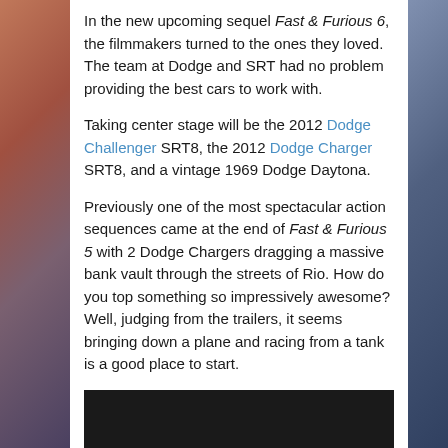In the new upcoming sequel Fast & Furious 6, the filmmakers turned to the ones they loved. The team at Dodge and SRT had no problem providing the best cars to work with.
Taking center stage will be the 2012 Dodge Challenger SRT8, the 2012 Dodge Charger SRT8, and a vintage 1969 Dodge Daytona.
Previously one of the most spectacular action sequences came at the end of Fast & Furious 5 with 2 Dodge Chargers dragging a massive bank vault through the streets of Rio. How do you top something so impressively awesome? Well, judging from the trailers, it seems bringing down a plane and racing from a tank is a good place to start.
[Figure (screenshot): Black video player placeholder at the bottom of the content area]